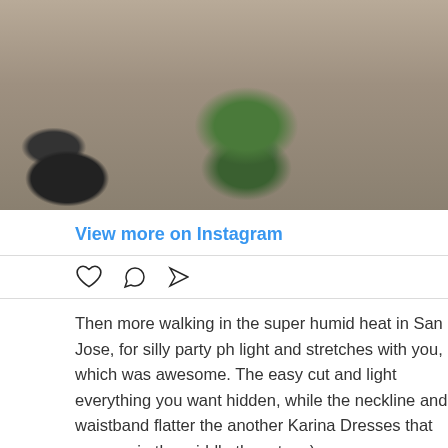[Figure (photo): Top portion of an Instagram post showing feet/shoes on a floor, with colorful fabric visible. Cropped view from above.]
View more on Instagram
Then more walking in the super humid heat in San Jose, for silly party ph light and stretches with you, which was awesome. The easy cut and light everything you want hidden, while the neckline and waistband flatter the another Karina Dresses that you see in the middle there too :)
[Figure (photo): Instagram profile section showing sunandsipcups account with 5,179 followers and a circular avatar photo of a woman.]
[Figure (photo): Bottom portion showing the start of another Instagram photo with beige/tan background.]